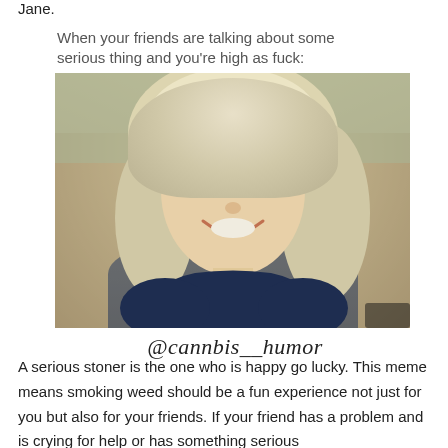Jane.
[Figure (photo): Meme image showing a smiling blonde woman (Daenerys from Game of Thrones) with caption 'When your friends are talking about some serious thing and you're high as fuck:' and watermark '@cannbis__humor']
A serious stoner is the one who is happy go lucky. This meme means smoking weed should be a fun experience not just for you but also for your friends. If your friend has a problem and is crying for help or has something serious